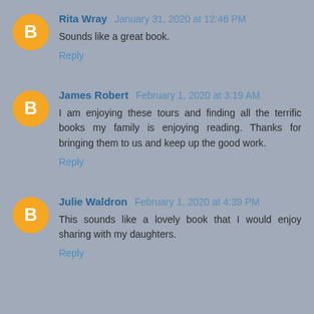Rita Wray  January 31, 2020 at 12:46 PM
Sounds like a great book.
Reply
James Robert  February 1, 2020 at 3:19 AM
I am enjoying these tours and finding all the terrific books my family is enjoying reading. Thanks for bringing them to us and keep up the good work.
Reply
Julie Waldron  February 1, 2020 at 4:39 PM
This sounds like a lovely book that I would enjoy sharing with my daughters.
Reply